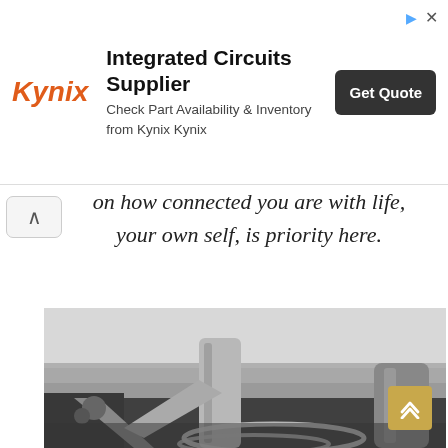[Figure (logo): Kynix logo with red/orange italic text]
Integrated Circuits Supplier
Check Part Availability & Inventory from Kynix Kynix
Get Quote
on how connected you are with life, your own self, is priority here.
[Figure (photo): Black and white photograph of a wooden boat dock/pier close-up with ropes, wooden posts and beams, with a calm sea and cloudy sky in the background]